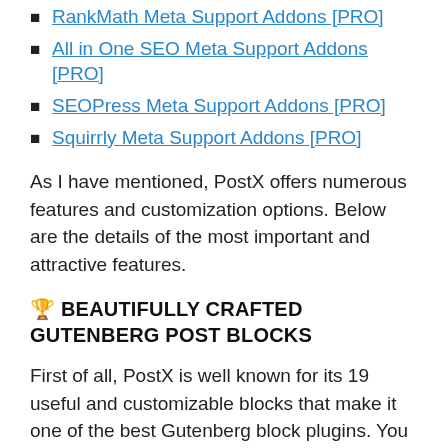RankMath Meta Support Addons [PRO]
All in One SEO Meta Support Addons [PRO]
SEOPress Meta Support Addons [PRO]
Squirrly Meta Support Addons [PRO]
As I have mentioned, PostX offers numerous features and customization options. Below are the details of the most important and attractive features.
🏆 BEAUTIFULLY CRAFTED GUTENBERG POST BLOCKS
First of all, PostX is well known for its 19 useful and customizable blocks that make it one of the best Gutenberg block plugins. You can use these blocks to organize your site's posts while displaying them (posts) on Home Page, and all Archive Pages that include Category Pages, Tag Pages, Search Pages, Date pages, etc. While or after adding them you can